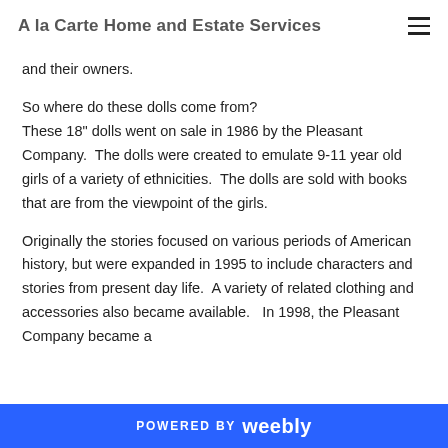A la Carte Home and Estate Services
and their owners.
So where do these dolls come from? These 18" dolls went on sale in 1986 by the Pleasant Company.  The dolls were created to emulate 9-11 year old girls of a variety of ethnicities.  The dolls are sold with books that are from the viewpoint of the girls.
Originally the stories focused on various periods of American  history, but were expanded in 1995 to include characters and stories from present day life.  A variety of related clothing and accessories also became available.   In 1998, the Pleasant Company became a
POWERED BY weebly